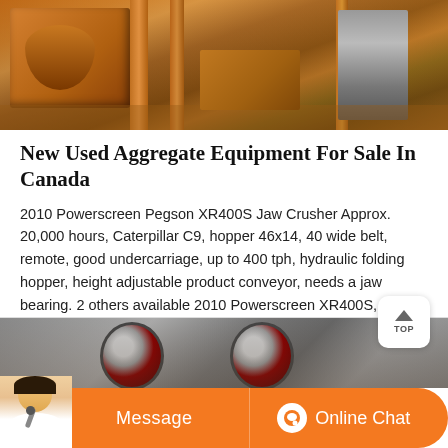[Figure (photo): Photo of large orange/rust-colored industrial jaw crusher equipment with metal frame and structural components visible, outdoors setting]
New Used Aggregate Equipment For Sale In Canada
2010 Powerscreen Pegson XR400S Jaw Crusher Approx. 20,000 hours, Caterpillar C9, hopper 46x14, 40 wide belt, remote, good undercarriage, up to 400 tph, hydraulic folding hopper, height adjustable product conveyor, needs a jaw bearing. 2 others available 2010 Powerscreen XR400S, 12,000 hours $189,000 2008 Terex Peg...
[Figure (photo): Photo of industrial machinery with large red/dark wheels or flywheels visible, appears to be crushing or milling equipment in a workshop or yard setting]